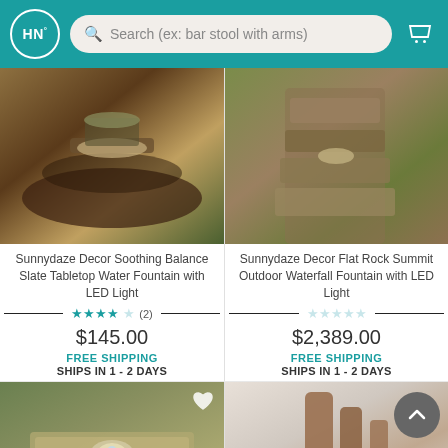HN° Search (ex: bar stool with arms)
[Figure (photo): Sunnydaze Decor Soothing Balance Slate Tabletop Water Fountain with LED Light product photo]
[Figure (photo): Sunnydaze Decor Flat Rock Summit Outdoor Waterfall Fountain with LED Light product photo]
Sunnydaze Decor Soothing Balance Slate Tabletop Water Fountain with LED Light
Sunnydaze Decor Flat Rock Summit Outdoor Waterfall Fountain with LED Light
★★★★☆ (2)
☆☆☆☆☆
$145.00
$2,389.00
FREE SHIPPING
SHIPS IN 1 - 2 DAYS
FREE SHIPPING
SHIPS IN 1 - 2 DAYS
[Figure (photo): Bottom left fountain product photo]
[Figure (photo): Bottom right fountain product photo]